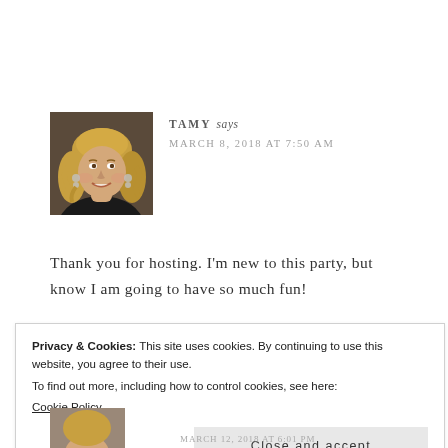[Figure (photo): Portrait photo of a smiling blonde woman with curly hair, wearing a black top, used as comment avatar]
TAMY says
MARCH 8, 2018 AT 7:50 AM
Thank you for hosting. I'm new to this party, but know I am going to have so much fun!
Privacy & Cookies: This site uses cookies. By continuing to use this website, you agree to their use.
To find out more, including how to control cookies, see here:
Cookie Policy
Close and accept